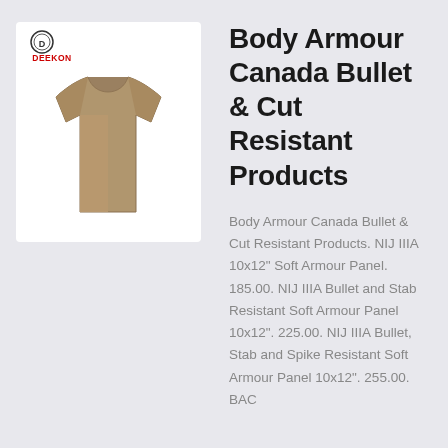[Figure (photo): Product photo of a tan/khaki military-style t-shirt displayed from the back, with a Deekon brand logo in the top-left corner of the white image box.]
Body Armour Canada Bullet & Cut Resistant Products
Body Armour Canada Bullet & Cut Resistant Products. NIJ IIIA 10x12" Soft Armour Panel. 185.00. NIJ IIIA Bullet and Stab Resistant Soft Armour Panel 10x12". 225.00. NIJ IIIA Bullet, Stab and Spike Resistant Soft Armour Panel 10x12". 255.00. BAC